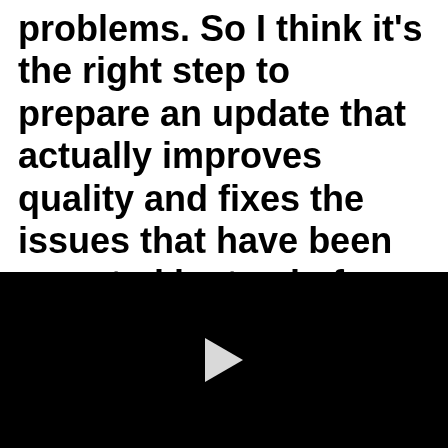problems. So I think it's the right step to prepare an update that actually improves quality and fixes the issues that have been reported instead of rushing out something
[Figure (other): Black video player area with a white play button triangle in the center]